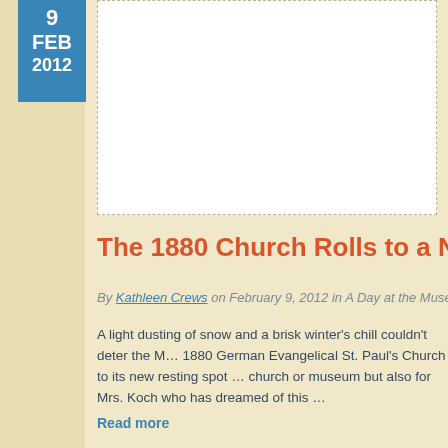9 FEB 2012
[Figure (photo): White rectangular image area placeholder for a photo related to the 1880 Church moving article]
The 1880 Church Rolls to a New H...
By Kathleen Crews on February 9, 2012 in A Day at the Museum Town Hi...
A light dusting of snow and a brisk winter's chill couldn't deter the M... 1880 German Evangelical St. Paul's Church to its new resting spot ... church or museum but also for Mrs. Koch who has dreamed of this ...
Read more